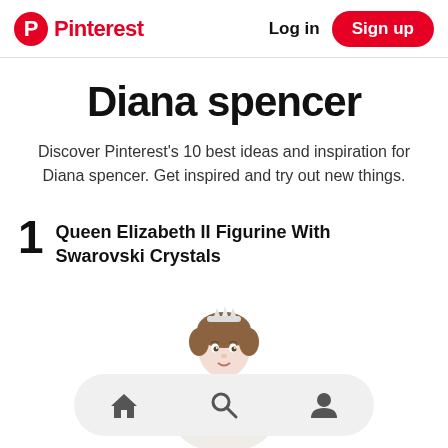Pinterest  Log in  Sign up
Diana spencer
Discover Pinterest's 10 best ideas and inspiration for Diana spencer. Get inspired and try out new things.
1  Queen Elizabeth II Figurine With Swarovski Crystals
[Figure (illustration): Illustrated figurine of a woman with short brown hair and a white dress, wearing a tiara, representing a Queen Elizabeth II or Diana Spencer collectible figurine]
[Figure (other): Mobile app bottom navigation bar with home, search, and profile icons on a light gray rounded rectangle background]